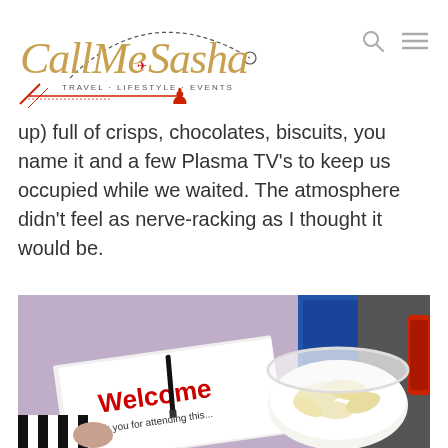CallMeSasha — Travel · Lifestyle · Events
up) full of crisps, chocolates, biscuits, you name it and a few Plasma TV's to keep us occupied while we waited. The atmosphere didn't feel as nerve-racking as I thought it would be.
[Figure (photo): A photo showing a Welcome brochure/badge with text 'Welcome Thank you for attending this...' and a bowl of crisps/chips, with a blue locker or panel in the background.]